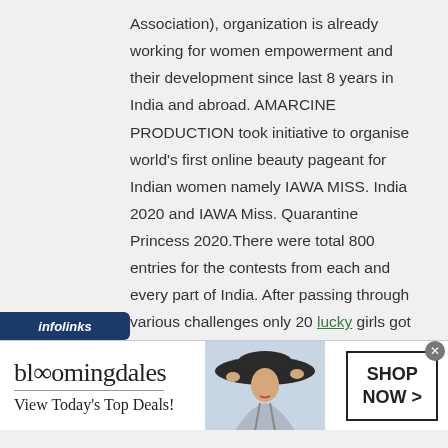Association), organization is already working for women empowerment and their development since last 8 years in India and abroad. AMARCINE PRODUCTION took initiative to organise world's first online beauty pageant for Indian women namely IAWA MISS. India 2020 and IAWA Miss. Quarantine Princess 2020.There were total 800 entries for the contests from each and every part of India. After passing through various challenges only 20 lucky girls got selected for finale. Finale was held online on 20th September 2020. It was a 10
[Figure (screenshot): Bloomingdale's advertisement banner showing logo, 'View Today's Top Deals!' tagline, a woman in a wide-brimmed hat, and a 'SHOP NOW >' call-to-action button]